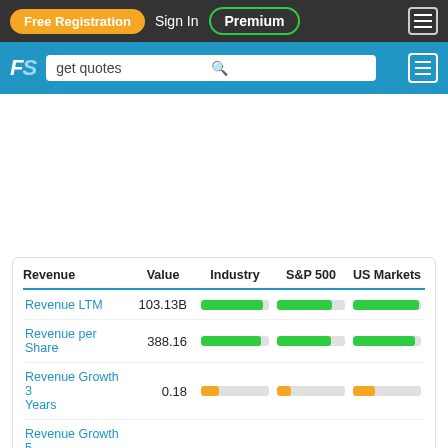Free Registration | Sign In | Premium
[Figure (screenshot): Finance website navigation bar with Free Registration button, Sign In link, Premium button, and hamburger menu]
| Revenue | Value | Industry | S&P 500 | US Markets |
| --- | --- | --- | --- | --- |
| Revenue LTM | 103.13B | ■■■■■■ | ■■■■■ | ■■■■■■ |
| Revenue per Share | 388.16 | ■■■■■■ | ■■■■■ | ■■■■■■ |
| Revenue Growth 3 Years | 0.18 | ■■ | ■ | ■ |
| Revenue Growth 5 |  |  |  |  |